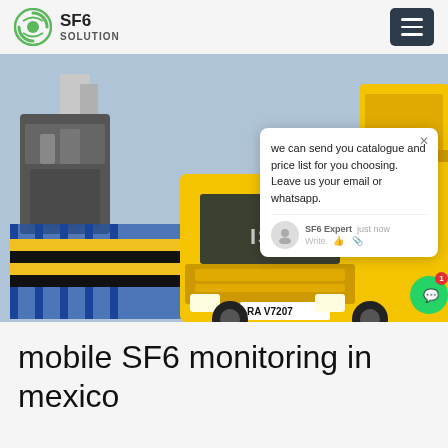SF6 SOLUTION
[Figure (photo): Yellow Isuzu truck parked at an industrial/electrical substation facility, with yellow heavy equipment visible in the background. A chat popup overlay is visible on the image showing a message: 'we can send you catalogue and price list for you choosing. Leave us your email or whatsapp.' with SF6 Expert label and 'just now' timestamp.]
mobile SF6 monitoring in mexico